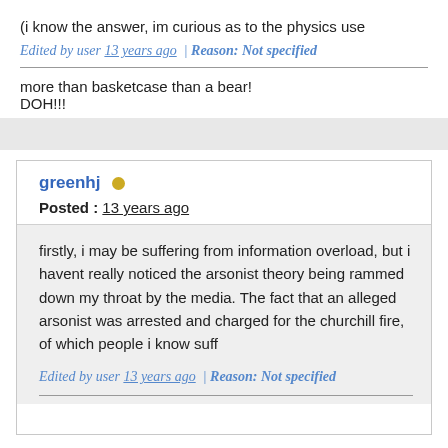(i know the answer, im curious as to the physics use
Edited by user 13 years ago | Reason: Not specified
more than basketcase than a bear!
DOH!!!
greenhj
Posted : 13 years ago
firstly, i may be suffering from information overload, but i havent really noticed the arsonist theory being rammed down my throat by the media. The fact that an alleged arsonist was arrested and charged for the churchill fire, of which people i know suff
Edited by user 13 years ago | Reason: Not specified